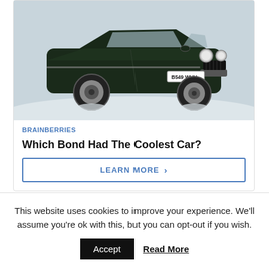[Figure (photo): Dark green Aston Martin V8 sports car with license plate B549 WUU, photographed outdoors in snowy conditions, front three-quarter view.]
BRAINBERRIES
Which Bond Had The Coolest Car?
LEARN MORE >
This website uses cookies to improve your experience. We'll assume you're ok with this, but you can opt-out if you wish.
Accept
Read More